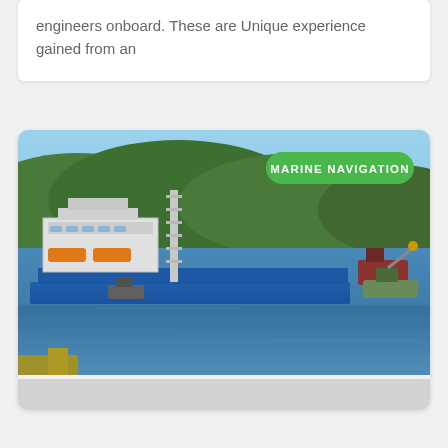engineers onboard. These are Unique experience gained from an
[Figure (photo): A large industrial barge with blue hull and white superstructure being towed on a calm bay or harbor by tugboats, with green forested hills in the background. A green badge reading 'MARINE NAVIGATION' is overlaid in the upper right of the image.]